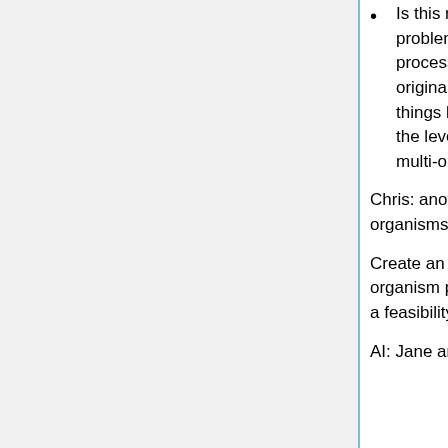Is this really a problem with cellular process or is it a problem with a disjoint relationship between cellular process and multi-organismal process? When we originally thought about this, we were considering things like mating etc., not viruses. I actually think at the level of viral processes, a process can be both multi-organismal and cellular. (David)
Chris: another option is saying that viruses aren't organisms
Create an additional top-level split between e.g. 'single organism process' and 'multi-organism process'? We need a feasibility study.
AI: Jane and Becky will look further into